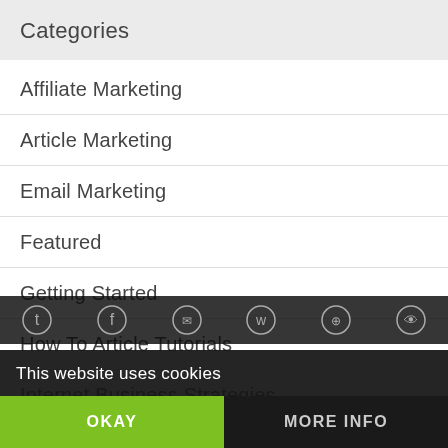Categories
Affiliate Marketing
Article Marketing
Email Marketing
Featured
Getting Started
How To Article Tutorials
Internet Business Strategies
Keyword Research
Make Money Online
This website uses cookies
OKAY
MORE INFO